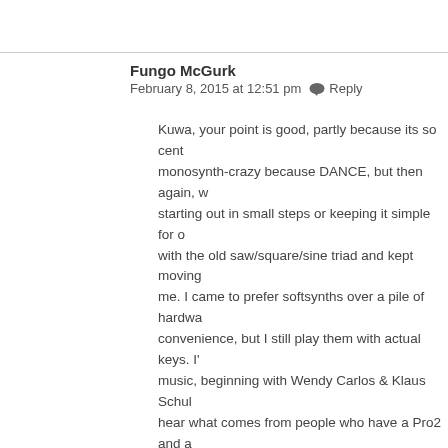Fungo McGurk
February 8, 2015 at 12:51 pm   Reply
Kuwa, your point is good, partly because its so cent… monosynth-crazy because DANCE, but then again, w… starting out in small steps or keeping it simple for d… with the old saw/square/sine triad and kept moving… me. I came to prefer softsynths over a pile of hardwa… convenience, but I still play them with actual keys. I'… music, beginning with Wendy Carlos & Klaus Schul… hear what comes from people who have a Pro2 and a… CV/Gate is good, but four is getting serious. Its not … and its not a full modular, so in theory, we may see a… more detailed in some ways.
As to effects, my first Moog only came alive when I ra… Smith got the P-6 right, with digital effects than can… analog signal chain. Never buy a no-FX monosynth w… be a real space cadet until you have Baby's First Rev…